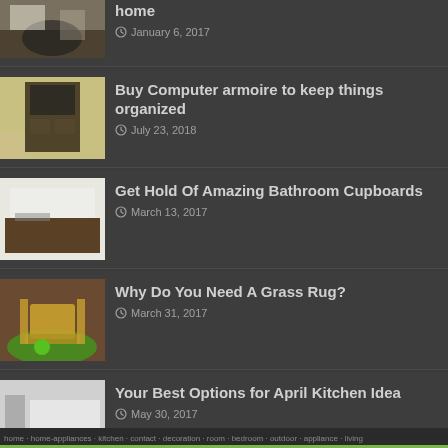home | January 6, 2017
Buy Computer armoire to keep things organized | July 23, 2018
Get Hold Of Amazing Bathroom Cupboards | March 13, 2017
Why Do You Need A Grass Rug? | March 31, 2017
Your Best Options for April Kitchen Idea | May 30, 2017
home · home-appliances · kitchen · contact · decoration · room · bedroom · outdoor · appliance · living